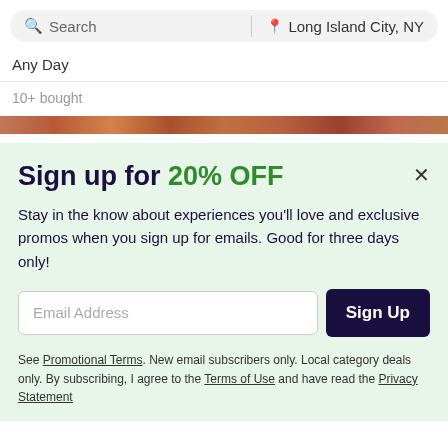Search | Long Island City, NY
Any Day
10+ bought
[Figure (photo): Partial view of food/experience images strip at top of modal]
Sign up for 20% OFF
Stay in the know about experiences you'll love and exclusive promos when you sign up for emails. Good for three days only!
Email Address [input field] Sign Up [button]
See Promotional Terms. New email subscribers only. Local category deals only. By subscribing, I agree to the Terms of Use and have read the Privacy Statement